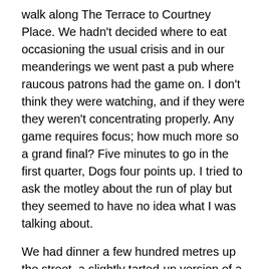walk along The Terrace to Courtney Place. We hadn't decided where to eat occasioning the usual crisis and in our meanderings we went past a pub where raucous patrons had the game on. I don't think they were watching, and if they were they weren't concentrating properly. Any game requires focus; how much more so a grand final? Five minutes to go in the first quarter, Dogs four points up. I tried to ask the motley about the run of play but they seemed to have no idea what I was talking about.
We had dinner a few hundred metres up the street, a slightly tarted-up version of a Turkish takeaway where the food never seemed to come. I was a bit on edge. The conversation didn't really flow. The meal did come. We ate it. I ran back to the pub. The score box said five or so minutes to go in the second quarter, Swans up by 8. The punters seemed to have lost all interest. I ran back to the